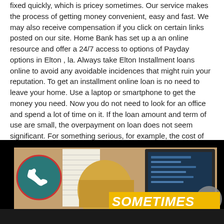fixed quickly, which is pricey sometimes. Our service makes the process of getting money convenient, easy and fast. We may also receive compensation if you click on certain links posted on our site. Home Bank has set up a an online resource and offer a 24/7 access to options of Payday options in Elton , la. Always take Elton Installment loans online to avoid any avoidable incidences that might ruin your reputation. To get an installment online loan is no need to leave your home. Use a laptop or smartphone to get the money you need. Now you do not need to look for an office and spend a lot of time on it. If the loan amount and term of use are small, the overpayment on loan does not seem significant. For something serious, for example, the cost of treatment or just do not lose the opportunity to take advantage of the action in one of the stores.
[Figure (photo): Image showing a person using a smartphone or laptop with a teal phone icon circle, a yellow 'SOMETIMES' text banner, and a dark background. Associated with payday/installment loan service.]